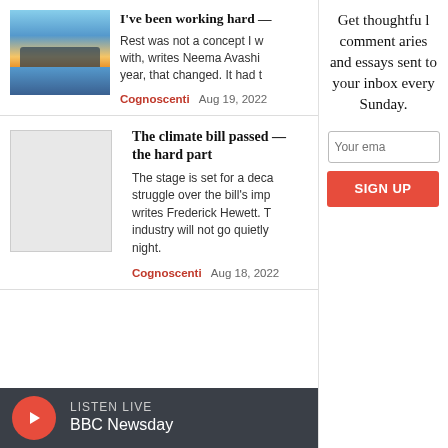[Figure (photo): Sunset/sunrise over a lake with cloud reflections]
I've been working hard —
Rest was not a concept I w... with, writes Neema Avashi... year, that changed. It had t...
Cognoscenti  Aug 19, 2022
[Figure (photo): Blank/placeholder image for second article]
The climate bill passed — the hard part
The stage is set for a deca... struggle over the bill's imp... writes Frederick Hewett. T... industry will not go quietly... night.
Cognoscenti  Aug 18, 2022
Get thoughtful commentaries and essays sent to your inbox every Sunday.
Your ema
SIGN UP
LISTEN LIVE  BBC Newsday